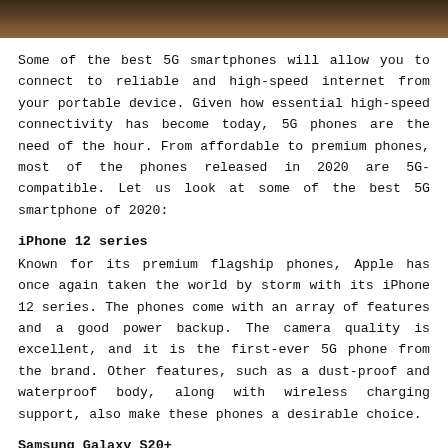[Figure (photo): Dark brown wooden surface or texture at the top of the page]
Some of the best 5G smartphones will allow you to connect to reliable and high-speed internet from your portable device. Given how essential high-speed connectivity has become today, 5G phones are the need of the hour. From affordable to premium phones, most of the phones released in 2020 are 5G-compatible. Let us look at some of the best 5G smartphone of 2020:
iPhone 12 series
Known for its premium flagship phones, Apple has once again taken the world by storm with its iPhone 12 series. The phones come with an array of features and a good power backup. The camera quality is excellent, and it is the first-ever 5G phone from the brand. Other features, such as a dust-proof and waterproof body, along with wireless charging support, also make these phones a desirable choice.
Samsung Galaxy S20+
In the present day, the Samsung Galaxy S20+ is one of best 5G